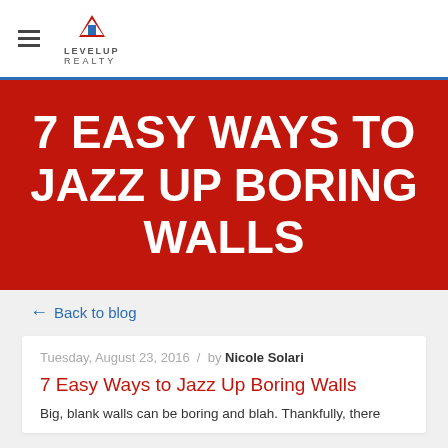LevelUp Realty
7 EASY WAYS TO JAZZ UP BORING WALLS
← Back to blog
Tuesday, August 23, 2016 / by Nicole Solari
7 Easy Ways to Jazz Up Boring Walls
Big, blank walls can be boring and blah. Thankfully, there